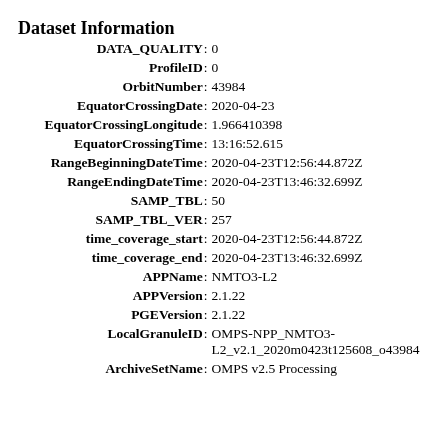Dataset Information
DATA_QUALITY: 0
ProfileID: 0
OrbitNumber: 43984
EquatorCrossingDate: 2020-04-23
EquatorCrossingLongitude: 1.966410398
EquatorCrossingTime: 13:16:52.615
RangeBeginningDateTime: 2020-04-23T12:56:44.872Z
RangeEndingDateTime: 2020-04-23T13:46:32.699Z
SAMP_TBL: 50
SAMP_TBL_VER: 257
time_coverage_start: 2020-04-23T12:56:44.872Z
time_coverage_end: 2020-04-23T13:46:32.699Z
APPName: NMTO3-L2
APPVersion: 2.1.22
PGEVersion: 2.1.22
LocalGranuleID: OMPS-NPP_NMTO3-L2_v2.1_2020m0423t125608_o43984
ArchiveSetName: OMPS v2.5 Processing